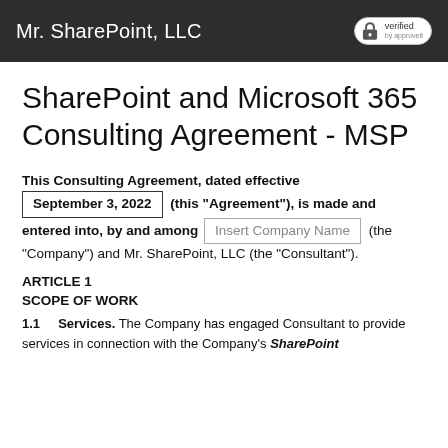Mr. SharePoint, LLC
SharePoint and Microsoft 365 Consulting Agreement - MSP
This Consulting Agreement, dated effective September 3, 2022 (this “Agreement”), is made and entered into, by and among Insert Company Name (the “Company”) and Mr. SharePoint, LLC (the “Consultant”).
ARTICLE 1
SCOPE OF WORK
1.1 Services. The Company has engaged Consultant to provide services in connection with the Company’s SharePoint